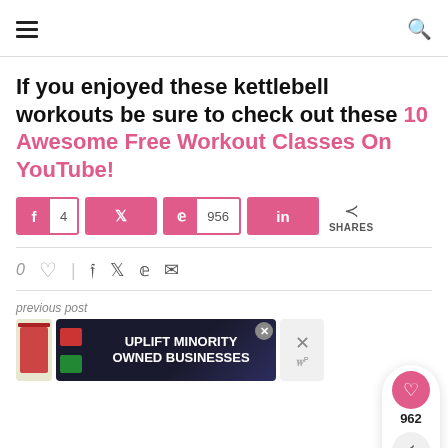Menu | Search
If you enjoyed these kettlebell workouts be sure to check out these 10 Awesome Free Workout Classes On YouTube!
[Figure (infographic): Social share buttons: Facebook with count 4, Twitter, Pinterest with count 956, LinkedIn, share icon with SHARES label. Floating share widget showing 962 shares and heart icon.]
[Figure (infographic): Like row: 0 heart icon, divider, social icons (facebook, twitter, pinterest, email). WHAT'S NEXT arrow with thumbnail and text '5 Awesome Fat Burning...']
previous post
[Figure (infographic): Advertisement banner: UPLIFT MINORITY OWNED BUSINESSES with close button. Secondary close X button.]